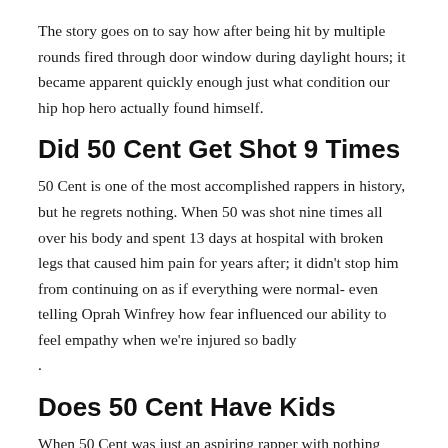The story goes on to say how after being hit by multiple rounds fired through door window during daylight hours; it became apparent quickly enough just what condition our hip hop hero actually found himself.
Did 50 Cent Get Shot 9 Times
50 Cent is one of the most accomplished rappers in history, but he regrets nothing. When 50 was shot nine times all over his body and spent 13 days at hospital with broken legs that caused him pain for years after; it didn't stop him from continuing on as if everything were normal- even telling Oprah Winfrey how fear influenced our ability to feel empathy when we're injured so badly
.
Does 50 Cent Have Kids
When 50 Cent was just an aspiring rapper with nothing more than his share of troubles, he had two sons. The oldest son Marquise